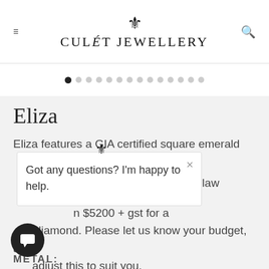CULÉT JEWELLERY
[Figure (screenshot): Carousel dot indicators — one filled black dot followed by 13 grey dots]
Eliza
Eliza features a GIA certified square emerald classic 4 claw
Got any questions? I'm happy to help.
$5200 + gst for a .6ct diamond. Please let us know your budget, and adjust this to suit you.
METAL: